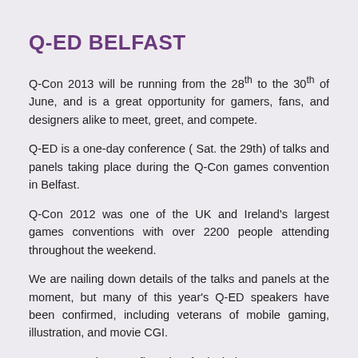Q-ED BELFAST
Q-Con 2013 will be running from the 28th to the 30th of June, and is a great opportunity for gamers, fans, and designers alike to meet, greet, and compete.
Q-ED is a one-day conference ( Sat. the 29th) of talks and panels taking place during the Q-Con games convention in Belfast.
Q-Con 2012 was one of the UK and Ireland's largest games conventions with over 2200 people attending throughout the weekend.
We are nailing down details of the talks and panels at the moment, but many of this year's Q-ED speakers have been confirmed, including veterans of mobile gaming, illustration, and movie CGI.
Current speakers confirmed so far include:
Greg Maguire – inlifesize.com